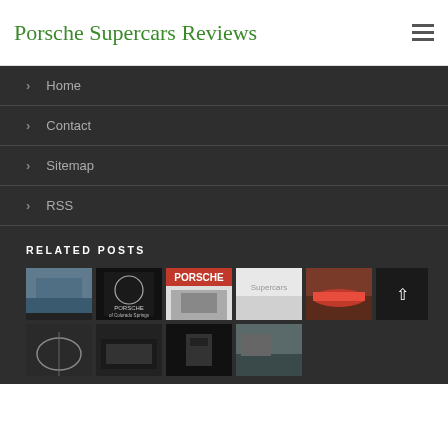Porsche Supercars Reviews
Home
Contact
Sitemap
RSS
RELATED POSTS
[Figure (photo): Grid of related post thumbnail images showing Porsche dealerships and vehicles]
[Figure (logo): Back to top button with up arrow]